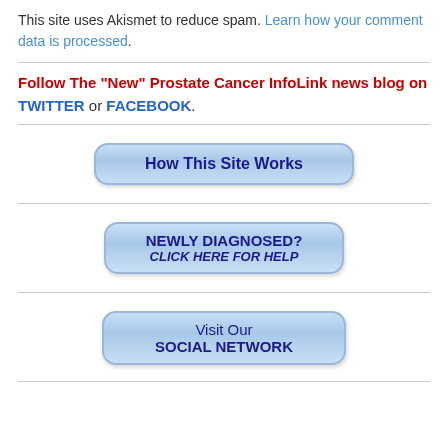This site uses Akismet to reduce spam. Learn how your comment data is processed.
Follow The "New" Prostate Cancer InfoLink news blog on TWITTER or FACEBOOK.
[Figure (other): Blue rounded button labeled 'How This Site Works']
[Figure (other): Blue rounded button labeled 'NEWLY DIAGNOSED? CLICK HERE FOR HELP']
[Figure (other): Blue rounded button labeled 'Visit Our SOCIAL NETWORK']